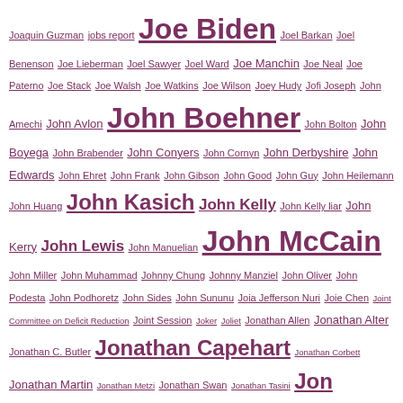Joaquin Guzman jobs report Joe Biden Joel Barkan Joel Benenson Joe Lieberman Joel Sawyer Joel Ward Joe Manchin Joe Neal Joe Paterno Joe Stack Joe Walsh Joe Watkins Joe Wilson Joey Hudy Jofi Joseph John Amechi John Avlon John Boehner John Bolton John Boyega John Brabender John Conyers John Cornyn John Derbyshire John Edwards John Ehret John Frank John Gibson John Good John Guy John Heilemann John Huang John Kasich John Kelly John Kelly liar John Kerry John Lewis John Manuelian John McCain John Miller John Muhammad Johnny Chung Johnny Manziel John Oliver John Podesta John Podhoretz John Sides John Sununu Joia Jefferson Nuri Joie Chen Joint Committee on Deficit Reduction Joint Session Joker Joliet Jonathan Allen Jonathan Alter Jonathan C. Butler Jonathan Capehart Jonathan Corbett Jonathan Martin Jonathan Metzi Jonathan Swan Jonathan Tasini Jon Huntsman Joni Ernst Jon Ossoff Jon Snow Jon Stewart Jordan Davis Jordan Miles Josefina Vazquez Mota Joseph Curl Joset Wright-Lacy Josh Barro Josh Mandel Josh Marshall Josh Rogin Joshua Fry Speed Joshua Miner Journal of Experimental Social